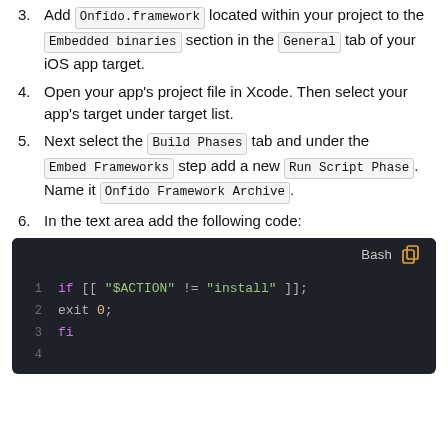3. Add Onfido.framework located within your project to the Embedded binaries section in the General tab of your iOS app target.
4. Open your app's project file in Xcode. Then select your app's target under target list.
5. Next select the Build Phases tab and under the Embed Frameworks step add a new Run Script Phase. Name it Onfido Framework Archive.
6. In the text area add the following code:
[Figure (screenshot): Dark-themed code block showing Bash code: line 1: if [[ "$ACTION" != "install" ]];  line 2: exit 0;  line 3: fi  line 4: (empty)]